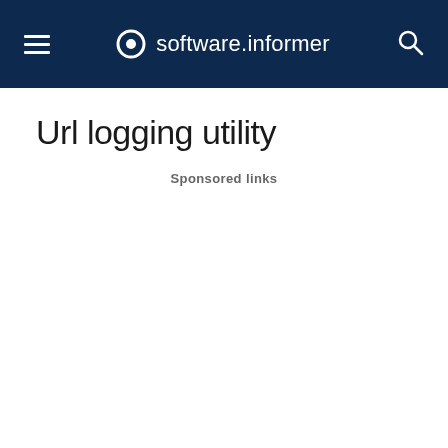software.informer
Url logging utility
Sponsored links